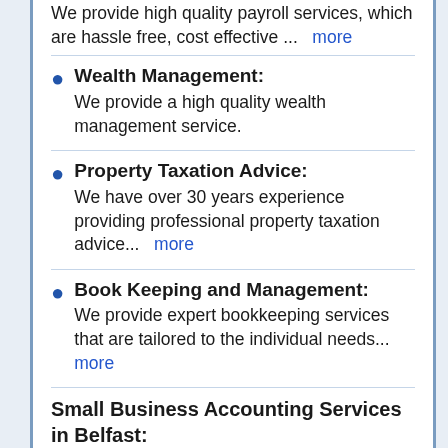We provide high quality payroll services, which are hassle free, cost effective ...  more
Wealth Management: We provide a high quality wealth management service.
Property Taxation Advice: We have over 30 years experience providing professional property taxation advice...  more
Book Keeping and Management: We provide expert bookkeeping services that are tailored to the individual needs...  more
Small Business Accounting Services in Belfast:
We provide all accounting services for small businesses in Belfast, including SME tax returns, corporation tax advice, remuneration planners, employee benefits, company secretarial services,